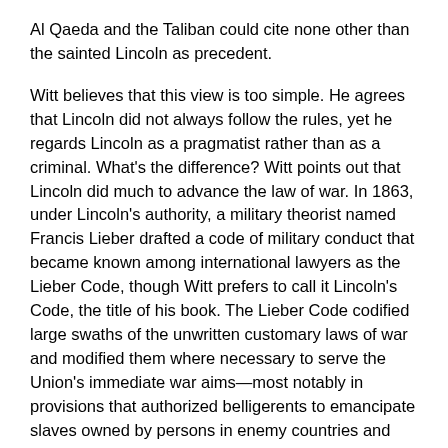Al Qaeda and the Taliban could cite none other than the sainted Lincoln as precedent.
Witt believes that this view is too simple. He agrees that Lincoln did not always follow the rules, yet he regards Lincoln as a pragmatist rather than as a criminal. What's the difference? Witt points out that Lincoln did much to advance the law of war. In 1863, under Lincoln's authority, a military theorist named Francis Lieber drafted a code of military conduct that became known among international lawyers as the Lieber Code, though Witt prefers to call it Lincoln's Code, the title of his book. The Lieber Code codified large swaths of the unwritten customary laws of war and modified them where necessary to serve the Union's immediate war aims—most notably in provisions that authorized belligerents to emancipate slaves owned by persons in enemy countries and that banned discrimination against soldiers on the basis of race. The code was also notable in its insistence that “military necessity”